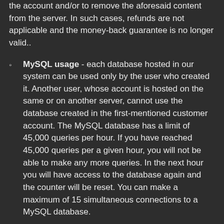the account and/or to remove the aforesaid content from the server. In such cases, refunds are not applicable and the money-back guarantee is no longer valid..
MySQL usage - each database hosted in our system can be used only by the user who created it. Another user, whose account is hosted on the same or on another server, cannot use the database created in the first-mentioned customer account. The MySQL database has a limit of 45,000 queries per hour. If you have reached 45,000 queries per a given hour, you will not be able to make any more queries. In the next hour you will have access to the database again and the counter will be reset. You can make a maximum of 15 simultaneous connections to a MySQL database.
RAM quota - each account is allowed to use up to 2